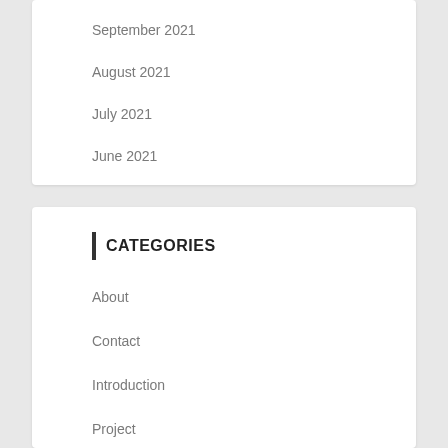September 2021
August 2021
July 2021
June 2021
CATEGORIES
About
Contact
Introduction
Project